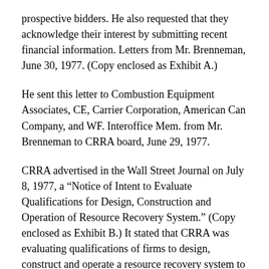prospective bidders. He also requested that they acknowledge their interest by submitting recent financial information. Letters from Mr. Brenneman, June 30, 1977. (Copy enclosed as Exhibit A.)
He sent this letter to Combustion Equipment Associates, CE, Carrier Corporation, American Can Company, and WF. Interoffice Mem. from Mr. Brenneman to CRRA board, June 29, 1977.
CRRA advertised in the Wall Street Journal on July 8, 1977, a “Notice of Intent to Evaluate Qualifications for Design, Construction and Operation of Resource Recovery System.” (Copy enclosed as Exhibit B.) It stated that CRRA was evaluating qualifications of firms to design, construct and operate a resource recovery system to process approximately 3000 tons of municipal solid waste per day. The system would become the